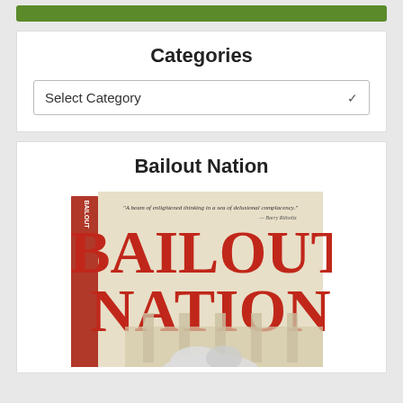[Figure (other): Green banner/button at the top of the page]
Categories
[Figure (other): Select Category dropdown widget]
Bailout Nation
[Figure (photo): Book cover of Bailout Nation showing large red text BAILOUT NATION on a cream background with an architectural scene and a bull/cow figure at bottom]